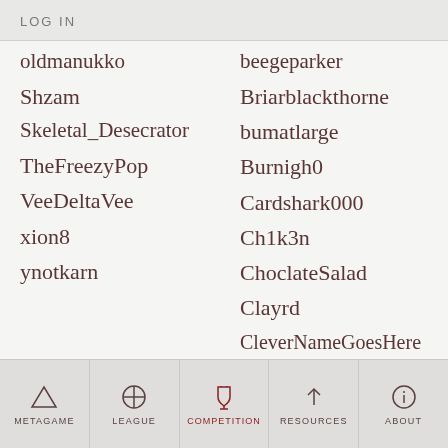LOG IN
oldmanukko
Shzam
Skeletal_Desecrator
TheFreezyPop
VeeDeltaVee
xion8
ynotkarn
beegeparker
Briarblackthorne
bumatlarge
Burnigh0
Cardshark000
Ch1k3n
ChoclateSalad
Clayrd
CleverNameGoesHere
CoolHandLuke
Crowebar
Cyanide64
D.O.T.
METAGAME  LEAGUE  COMPETITION  RESOURCES  ABOUT